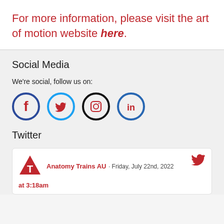For more information, please visit the art of motion website here.
Social Media
We're social, follow us on:
[Figure (illustration): Four social media icons: Facebook (dark blue circle with f), Twitter (light blue circle with bird), Instagram (black circle with camera), LinkedIn (dark blue circle with in)]
Twitter
[Figure (illustration): Tweet card: Anatomy Trains AU logo (red triangle with T), author name 'Anatomy Trains AU', date 'Friday, July 22nd, 2022', time 'at 3:18am', Twitter bird icon top right]